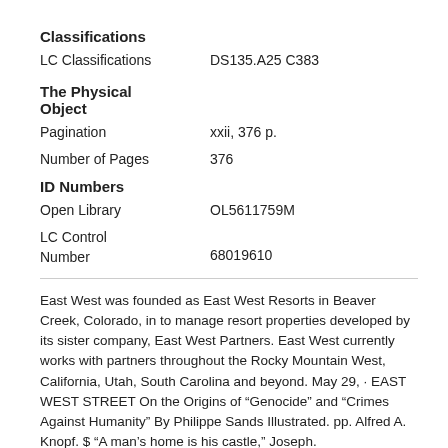Classifications
LC Classifications    DS135.A25 C383
The Physical Object
Pagination    xxii, 376 p.
Number of Pages    376
ID Numbers
Open Library    OL5611759M
LC Control Number    68019610
East West was founded as East West Resorts in Beaver Creek, Colorado, in to manage resort properties developed by its sister company, East West Partners. East West currently works with partners throughout the Rocky Mountain West, California, Utah, South Carolina and beyond. May 29,  · EAST WEST STREET On the Origins of "Genocide" and "Crimes Against Humanity" By Philippe Sands Illustrated. pp. Alfred A. Knopf. $ "A man's home is his castle," Joseph.